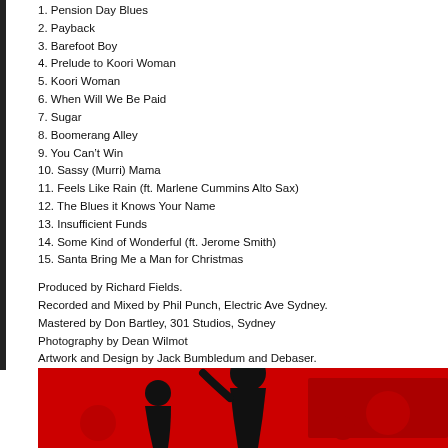1. Pension Day Blues
2. Payback
3. Barefoot Boy
4. Prelude to Koori Woman
5. Koori Woman
6. When Will We Be Paid
7. Sugar
8. Boomerang Alley
9. You Can’t Win
10. Sassy (Murri) Mama
11. Feels Like Rain (ft. Marlene Cummins Alto Sax)
12. The Blues it Knows Your Name
13. Insufficient Funds
14. Some Kind of Wonderful (ft. Jerome Smith)
15. Santa Bring Me a Man for Christmas
Produced by Richard Fields.
Recorded and Mixed by Phil Punch, Electric Ave Sydney.
Mastered by Don Bartley, 301 Studios, Sydney
Photography by Dean Wilmot
Artwork and Design by Jack Bumbledum and Debaser.
All Rights Reserved.
« News Archive
[Figure (illustration): Red background with black silhouettes of figures, partial view at bottom of page]